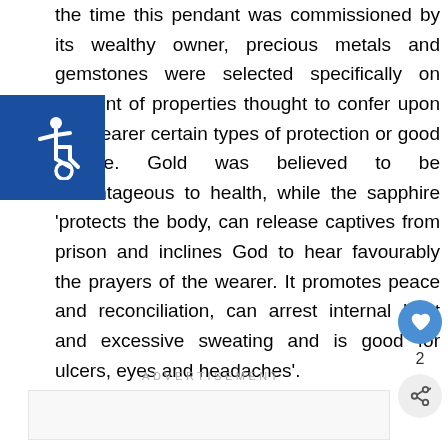the time this pendant was commissioned by its wealthy owner, precious metals and gemstones were selected specifically on account of properties thought to confer upon the wearer certain types of protection or good fortune. Gold was believed to be advantageous to health, while the sapphire 'protects the body, can release captives from prison and inclines God to hear favourably the prayers of the wearer. It promotes peace and reconciliation, can arrest internal heat and excessive sweating and is good for ulcers, eyes and headaches'.
[Figure (other): Accessibility icon - wheelchair symbol in white on blue square background]
ADVERTISEMENT
[Figure (other): Heart/favorite button (circular blue button with heart icon), like count of 2, and share button (circular light grey button with share icon)]